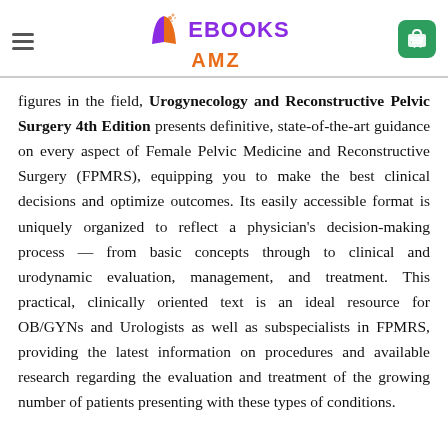EBOOKS AMZ [logo with hamburger menu and cart]
figures in the field, Urogynecology and Reconstructive Pelvic Surgery 4th Edition presents definitive, state-of-the-art guidance on every aspect of Female Pelvic Medicine and Reconstructive Surgery (FPMRS), equipping you to make the best clinical decisions and optimize outcomes. Its easily accessible format is uniquely organized to reflect a physician's decision-making process — from basic concepts through to clinical and urodynamic evaluation, management, and treatment. This practical, clinically oriented text is an ideal resource for OB/GYNs and Urologists as well as subspecialists in FPMRS, providing the latest information on procedures and available research regarding the evaluation and treatment of the growing number of patients presenting with these types of conditions.